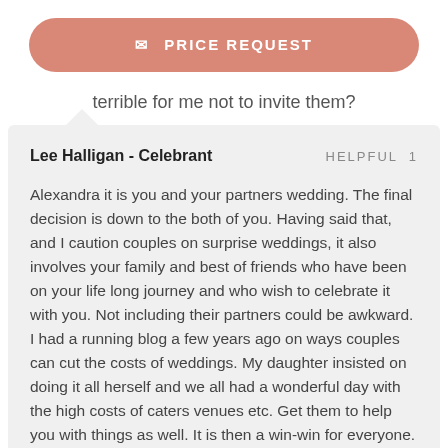PRICE REQUEST
terrible for me not to invite them?
Lee Halligan - Celebrant   HELPFUL 1
Alexandra it is you and your partners wedding. The final decision is down to the both of you. Having said that, and I caution couples on surprise weddings, it also involves your family and best of friends who have been on your life long journey and who wish to celebrate it with you. Not including their partners could be awkward. I had a running blog a few years ago on ways couples can cut the costs of weddings. My daughter insisted on doing it all herself and we all had a wonderful day with the high costs of caters venues etc. Get them to help you with things as well. It is then a win-win for everyone. Enjoy yourselves. Lee Halligan, Celebrant